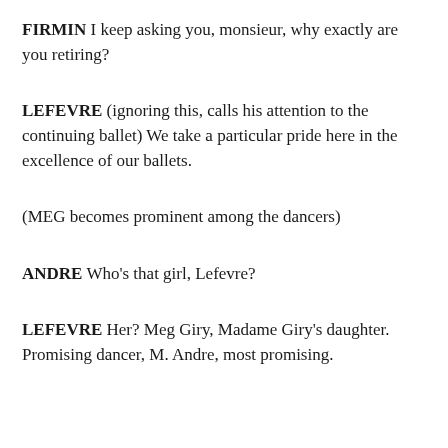FIRMIN I keep asking you, monsieur, why exactly are you retiring?
LEFEVRE (ignoring this, calls his attention to the continuing ballet) We take a particular pride here in the excellence of our ballets.
(MEG becomes prominent among the dancers)
ANDRE Who's that girl, Lefevre?
LEFEVRE Her? Meg Giry, Madame Giry's daughter. Promising dancer, M. Andre, most promising.